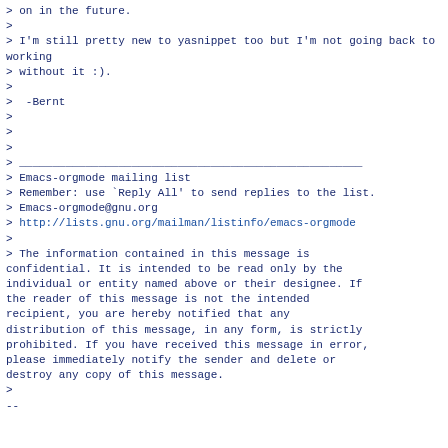> on in the future.
>
> I'm still pretty new to yasnippet too but I'm not going back to working
> without it :).
>
>  -Bernt
>
>
>
> ____________________________________________________
> Emacs-orgmode mailing list
> Remember: use `Reply All' to send replies to the list.
> Emacs-orgmode@gnu.org
> http://lists.gnu.org/mailman/listinfo/emacs-orgmode
>
> The information contained in this message is confidential. It is intended to be read only by the individual or entity named above or their designee. If the reader of this message is not the intended recipient, you are hereby notified that any distribution of this message, in any form, is strictly prohibited. If you have received this message in error, please immediately notify the sender and delete or destroy any copy of this message.
>
--